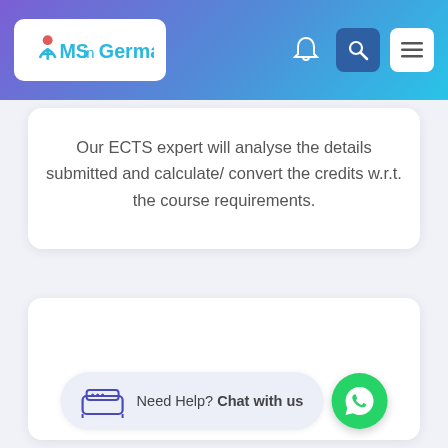[Figure (logo): MS in Germany logo in white rounded box in navigation header]
MS in Germany - navigation bar with bell, search, and menu icons
Our ECTS expert will analyse the details submitted and calculate/ convert the credits w.r.t. the course requirements.
[Figure (illustration): Bed/chat icon illustration inside a circular light purple background]
Need Help? Chat with us